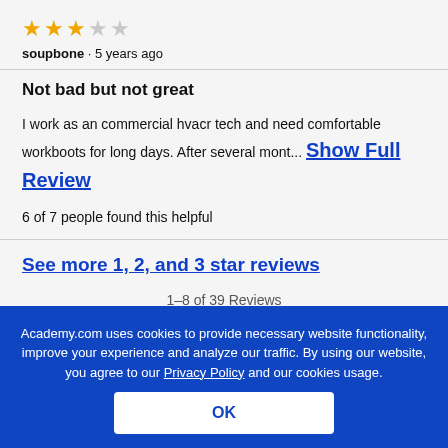[Figure (other): 3 out of 5 stars rating: three filled gold stars and two empty/grey stars]
soupbone · 5 years ago
Not bad but not great
I work as an commercial hvacr tech and need comfortable workboots for long days. After several mont... Show Full Review
6 of 7 people found this helpful
See more 1, 2, and 3 star reviews
1–8 of 39 Reviews
Sort by: Most Recent ▾
Academy.com uses cookies to provide necessary website functionality, improve your experience and analyze our traffic. By using our website, you agree to our Privacy Policy and our cookies usage.
OK